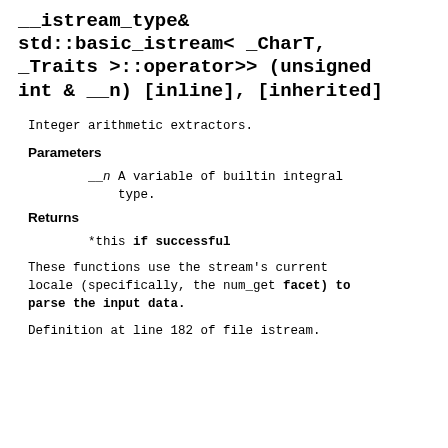__istream_type& std::basic_istream< _CharT, _Traits >::operator>> (unsigned int & __n) [inline], [inherited]
Integer arithmetic extractors.
Parameters
__n A variable of builtin integral type.
Returns
*this if successful
These functions use the stream's current locale (specifically, the num_get facet) to parse the input data.
Definition at line 182 of file istream.